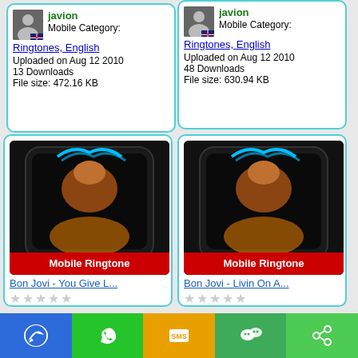[Figure (screenshot): Top-left card partial: javion avatar, Mobile Category: Ringtones, English, Uploaded on Aug 12 2010, 13 Downloads, File size: 472.16 KB]
[Figure (screenshot): Top-right card partial: javion avatar, Mobile Category: Ringtones, English, Uploaded on Aug 12 2010, 48 Downloads, File size: 630.94 KB]
[Figure (screenshot): Bottom-left card: Bon Jovi - You Give L... ringtone image, stars, Contributed by javion, Mobile Category: Ringtones English, Uploaded on Aug 12 2010, 7 Downloads, File size: 287.26 KB]
[Figure (screenshot): Bottom-right card: Bon Jovi - Livin On A... ringtone image, stars, Contributed by javion, Mobile Category: Ringtones English, Uploaded on Aug 12 2010, 17 Downloads, File size: 329.71 KB]
[Figure (infographic): Bottom navigation bar with 5 colored buttons: blue messenger icon, green WhatsApp icon, orange SMS icon, teal WeChat icon, green share icon]